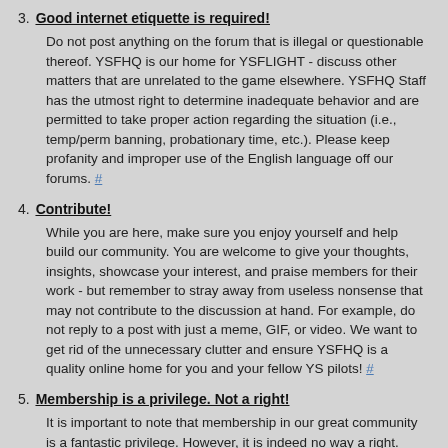3. Good internet etiquette is required!
Do not post anything on the forum that is illegal or questionable thereof. YSFHQ is our home for YSFLIGHT - discuss other matters that are unrelated to the game elsewhere. YSFHQ Staff has the utmost right to determine inadequate behavior and are permitted to take proper action regarding the situation (i.e., temp/perm banning, probationary time, etc.). Please keep profanity and improper use of the English language off our forums. #
4. Contribute!
While you are here, make sure you enjoy yourself and help build our community. You are welcome to give your thoughts, insights, showcase your interest, and praise members for their work - but remember to stray away from useless nonsense that may not contribute to the discussion at hand. For example, do not reply to a post with just a meme, GIF, or video. We want to get rid of the unnecessary clutter and ensure YSFHQ is a quality online home for you and your fellow YS pilots! #
5. Membership is a privilege. Not a right!
It is important to note that membership in our great community is a fantastic privilege. However, it is indeed no way a right. YSFHQ staff have the utmost authority to claim anything we feel that is